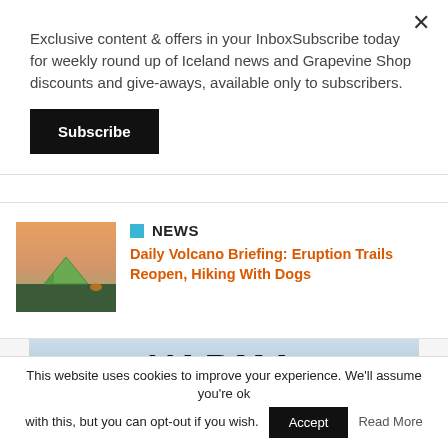Exclusive content & offers in your InboxSubscribe today for weekly round up of Iceland news and Grapevine Shop discounts and give-aways, available only to subscribers.
Subscribe
[Figure (photo): Thumbnail photo of a green tent at dusk or dawn with mountains and orange sky in background]
NEWS
Daily Volcano Briefing: Eruption Trails Reopen, Hiking With Dogs
[Figure (photo): Advertisement banner for VARMA MADE IN ICELAND showing snow-capped mountain range under a light sky]
This website uses cookies to improve your experience. We'll assume you're ok with this, but you can opt-out if you wish.
Accept
Read More